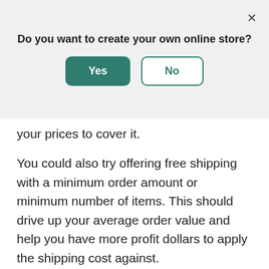Do you want to create your own online store?
Yes
No
your prices to cover it.
You could also try offering free shipping with a minimum order amount or minimum number of items. This should drive up your average order value and help you have more profit dollars to apply the shipping cost against.
Prominently advertising that you offer free shipping can be an effective way to drive up conversion rates. Chubbies offers free shipping on all their shorts (including return shipments)